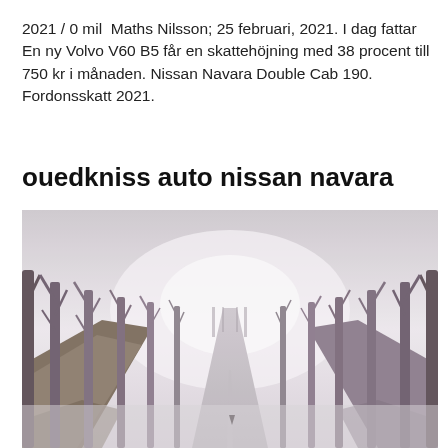2021 / 0 mil  Maths Nilsson; 25 februari, 2021. I dag fattar En ny Volvo V60 B5 får en skattehöjning med 38 procent till 750 kr i månaden. Nissan Navara Double Cab 190. Fordonsskatt 2021.
ouedkniss auto nissan navara
[Figure (photo): A misty winter road lined with tall bare trees on both sides, with fog in the distance and a snowy/icy road surface in the foreground. Purple-grey tones with light fog creating a vanishing point perspective.]